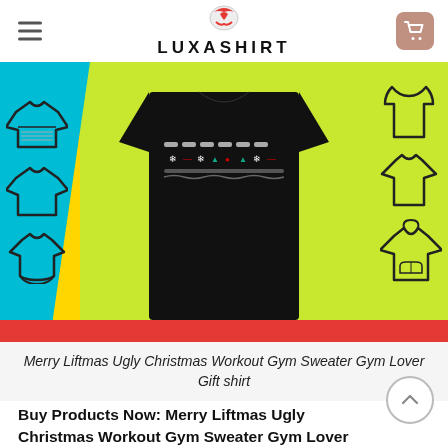LUXASHIRT
[Figure (photo): Product listing image for a black Merry Liftmas Ugly Christmas Workout Gym Sweater shirt on a green/yellow/cyan background, with clothing type icons on the left and right sides]
Merry Liftmas Ugly Christmas Workout Gym Sweater Gym Lover Gift shirt
Buy Products Now: Merry Liftmas Ugly Christmas Workout Gym Sweater Gym Lover Gift shirt ,